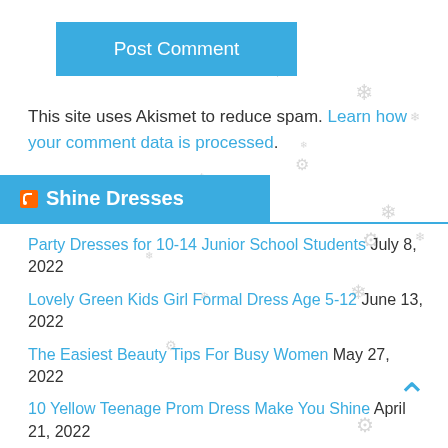Post Comment
This site uses Akismet to reduce spam. Learn how your comment data is processed.
Shine Dresses
Party Dresses for 10-14 Junior School Students July 8, 2022
Lovely Green Kids Girl Formal Dress Age 5-12 June 13, 2022
The Easiest Beauty Tips For Busy Women May 27, 2022
10 Yellow Teenage Prom Dress Make You Shine April 21, 2022
Is it necessary to prepare a bridesmaid gift? March 26, 2022
Nail Trends for 2022 March 7, 2022
What's the Role of Mother Of The Bride Dress And Duties